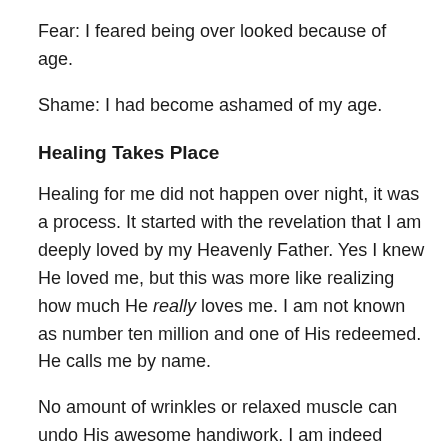Fear: I feared being over looked because of age.
Shame: I had become ashamed of my age.
Healing Takes Place
Healing for me did not happen over night, it was a process. It started with the revelation that I am deeply loved by my Heavenly Father. Yes I knew He loved me, but this was more like realizing how much He really loves me. I am not known as number ten million and one of His redeemed. He calls me by name.
No amount of wrinkles or relaxed muscle can undo His awesome handiwork. I am indeed fearfully and wonderfully made.
God lives outside of time and we are here on earth but for